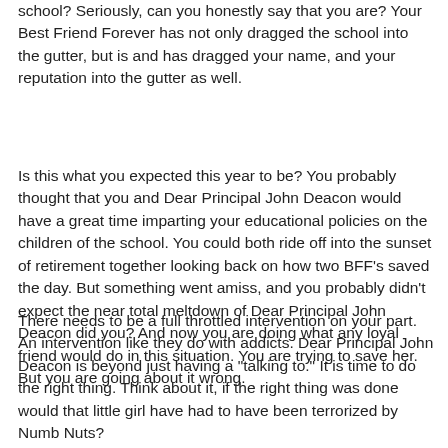school? Seriously, can you honestly say that you are? Your Best Friend Forever has not only dragged the school into the gutter, but is and has dragged your name, and your reputation into the gutter as well.
Is this what you expected this year to be? You probably thought that you and Dear Principal John Deacon would have a great time imparting your educational policies on the children of the school. You could both ride off into the sunset of retirement together looking back on how two BFF's saved the day. But something went amiss, and you probably didn't expect the near total meltdown of Dear Principal John Deacon did you? And now you are doing what any loyal friend would do in this situation. You are trying to save her. But you are going about it wrong.
There needs to be a full throttled intervention on your part. An intervention like they do with addicts. Dear Principal John Deacon is beyond just having a "talking to." It is time to do the right thing. Think about it, if the right thing was done would that little girl have had to have been terrorized by Numb Nuts?